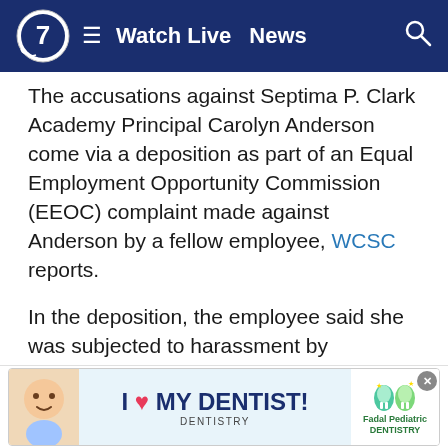Watch Live  News
The accusations against Septima P. Clark Academy Principal Carolyn Anderson come via a deposition as part of an Equal Employment Opportunity Commission (EEOC) complaint made against Anderson by a fellow employee, WCSC reports.
In the deposition, the employee said she was subjected to harassment by Anderson and witnessed numerous occasions of inappropriate conduct that violated the Charleston County School District’s policy on professional conduct.
Anderson was made the interim principal of Clark Academy at the beginning of the school year. She was promoted to principal on April 22 and then subsequently placed... on April 26.
[Figure (photo): I Love My Dentist advertisement banner with baby photo and Fadal Pediatric Dentistry logo]